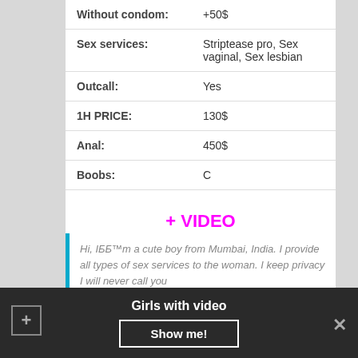| Field | Value |
| --- | --- |
| Without condom: | +50$ |
| Sex services: | Striptease pro, Sex vaginal, Sex lesbian |
| Outcall: | Yes |
| 1H PRICE: | 130$ |
| Anal: | 450$ |
| Boobs: | C |
+ VIDEO
Hi, IББ™m a cute boy from Mumbai, India. I provide all types of sex services to the woman. I keep privacy I will never call you
Girls with video  Show me!